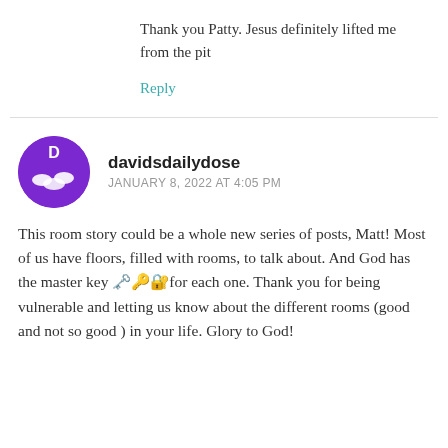Thank you Patty. Jesus definitely lifted me from the pit
Reply
davidsdailydose
JANUARY 8, 2022 AT 4:05 PM
This room story could be a whole new series of posts, Matt! Most of us have floors, filled with rooms, to talk about. And God has the master key 🗝️🔑🔐 for each one. Thank you for being vulnerable and letting us know about the different rooms (good and not so good ) in your life. Glory to God!